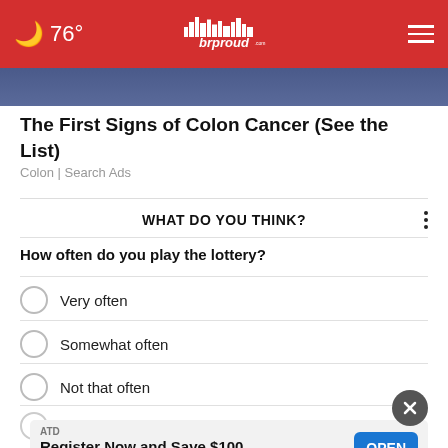76° brproud.com
[Figure (photo): Partial photo showing a person in a blue jacket, cropped behind header]
The First Signs of Colon Cancer (See the List)
Colon | Search Ads
WHAT DO YOU THINK?
How often do you play the lottery?
Very often
Somewhat often
Not that often
Not often at all
ATD
Register Now and Save $100